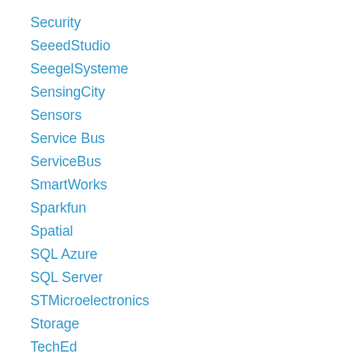Security
SeeedStudio
SeegelSysteme
SensingCity
Sensors
Service Bus
ServiceBus
SmartWorks
Sparkfun
Spatial
SQL Azure
SQL Server
STMicroelectronics
Storage
TechEd
TechEd2012
TechEd2014
TechEd2015
The Things Industries
The Things Network